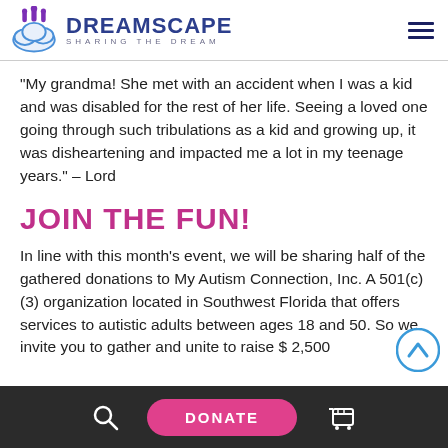DREAMSCAPE — SHARING THE DREAM
“My grandma! She met with an accident when I was a kid and was disabled for the rest of her life. Seeing a loved one going through such tribulations as a kid and growing up, it was disheartening and impacted me a lot in my teenage years.” – Lord
JOIN THE FUN!
In line with this month’s event, we will be sharing half of the gathered donations to My Autism Connection, Inc. A 501(c)(3) organization located in Southwest Florida that offers services to autistic adults between ages 18 and 50. So we invite you to gather and unite to raise $ 2,500
DONATE